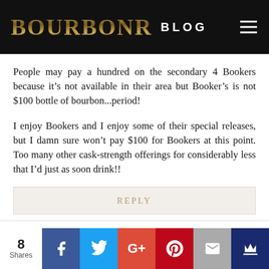BOURBONR BLOG
People may pay a hundred on the secondary 4 Bookers because it’s not available in their area but Booker’s is not $100 bottle of bourbon...period!
I enjoy Bookers and I enjoy some of their special releases, but I damn sure won’t pay $100 for Bookers at this point. Too many other cask-strength offerings for considerably less that I’d just as soon drink!!
REPLY
8 Shares